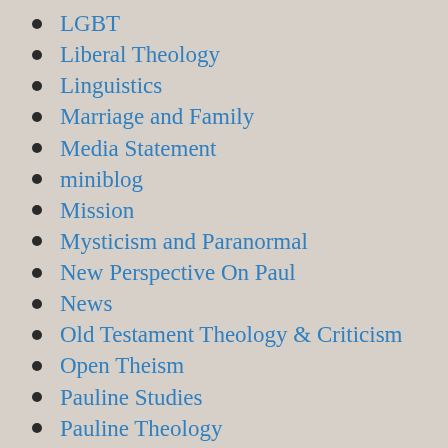LGBT
Liberal Theology
Linguistics
Marriage and Family
Media Statement
miniblog
Mission
Mysticism and Paranormal
New Perspective On Paul
News
Old Testament Theology & Criticism
Open Theism
Pauline Studies
Pauline Theology
Philosophical Apologetics
Philosophical Theology